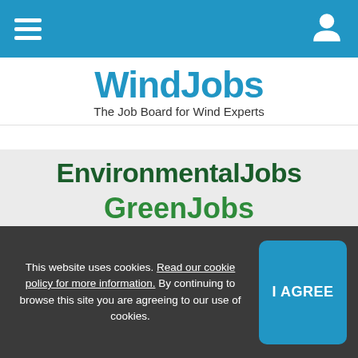WindJobs — navigation bar with hamburger menu and user icon
WindJobs — The Job Board for Wind Experts
[Figure (screenshot): List of job board site names: EnvironmentalJobs, GreenJobs, RenewableEnergyJobs, SolarJobs, WasteJobs, WaterJobs, WindJobs displayed in large bold colored text on a grey background]
This website uses cookies. Read our cookie policy for more information. By continuing to browse this site you are agreeing to our use of cookies.